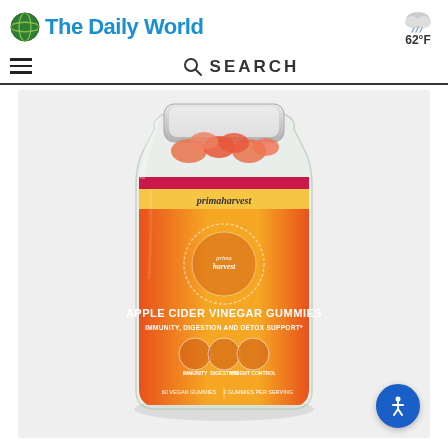The Daily World
62°F
[Figure (screenshot): Navigation bar with hamburger menu icon and SEARCH bar with magnifying glass icon]
[Figure (photo): Prima Harvest Apple Cider Vinegar Gummies supplement bottle with orange and red label, showing gummies inside. Label reads: primaHarvest, APPLE CIDER VINEGAR GUMMIES, IMMUNITY, DIGESTION AND DETOX SUPPORT, with icons for immunity, digestion, and weight control.]